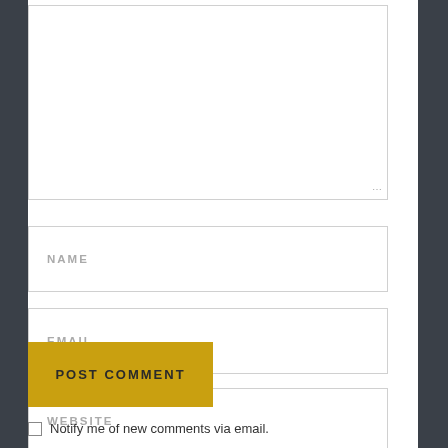[Figure (screenshot): A comment form with a textarea at the top, input fields for NAME, EMAIL, WEBSITE, a POST COMMENT button, and a checkbox for email notification.]
NAME
EMAIL
WEBSITE
POST COMMENT
Notify me of new comments via email.